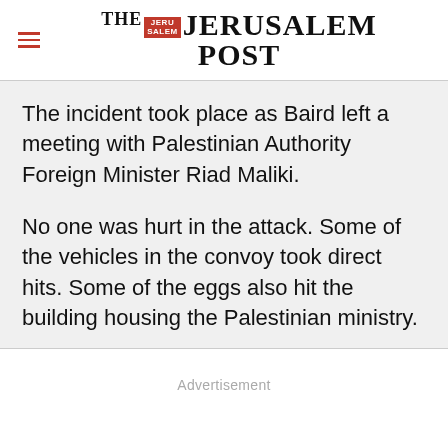THE JERUSALEM POST
The incident took place as Baird left a meeting with Palestinian Authority Foreign Minister Riad Maliki.
No one was hurt in the attack. Some of the vehicles in the convoy took direct hits. Some of the eggs also hit the building housing the Palestinian ministry.
Advertisement